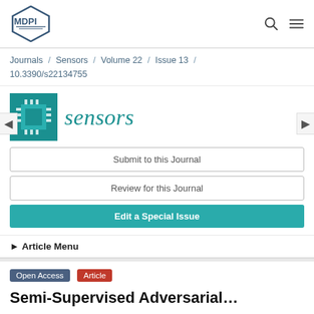[Figure (logo): MDPI hexagon logo in top left navigation bar]
Journals / Sensors / Volume 22 / Issue 13 / 10.3390/s22134755
[Figure (logo): Sensors journal icon: teal square with chip/circuit board graphic]
sensors
Submit to this Journal
Review for this Journal
Edit a Special Issue
▶ Article Menu
Open Access  Article
Semi-Supervised Adversarial…